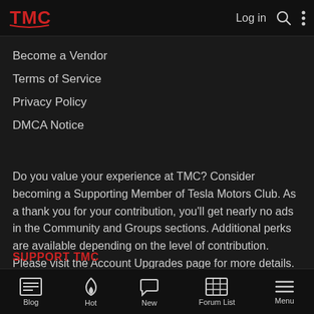TMC — Log in
Become a Vendor
Terms of Service
Privacy Policy
DMCA Notice
Do you value your experience at TMC? Consider becoming a Supporting Member of Tesla Motors Club. As a thank you for your contribution, you'll get nearly no ads in the Community and Groups sections. Additional perks are available depending on the level of contribution. Please visit the Account Upgrades page for more details.
SUPPORT TMC
Blog | Hot | New | Forum List | Menu